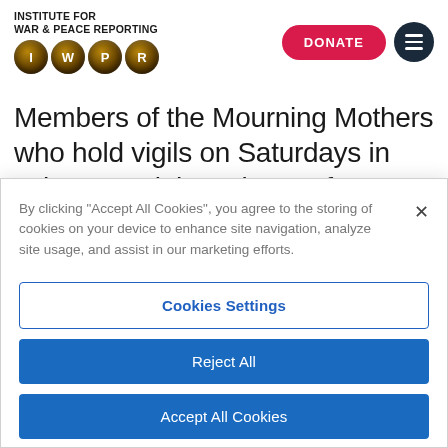[Figure (logo): Institute for War & Peace Reporting (IWPR) logo with gold typewriter-key circles for I, W, P, R letters]
DONATE
Members of the Mourning Mothers who hold vigils on Saturdays in Tehran’s Laleh Park are often detained and
By clicking “Accept All Cookies”, you agree to the storing of cookies on your device to enhance site navigation, analyze site usage, and assist in our marketing efforts.
Cookies Settings
Reject All
Accept All Cookies